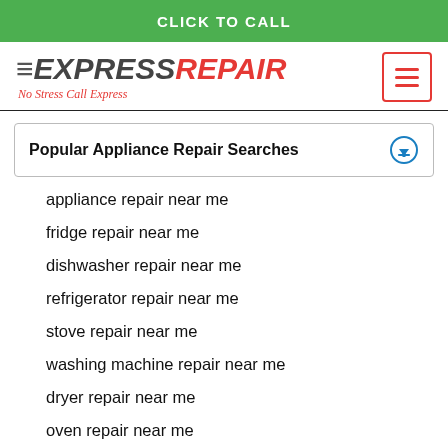CLICK TO CALL
[Figure (logo): Express Repair logo with arrows, tagline 'No Stress Call Express' and hamburger menu button]
Popular Appliance Repair Searches
appliance repair near me
fridge repair near me
dishwasher repair near me
refrigerator repair near me
stove repair near me
washing machine repair near me
dryer repair near me
oven repair near me